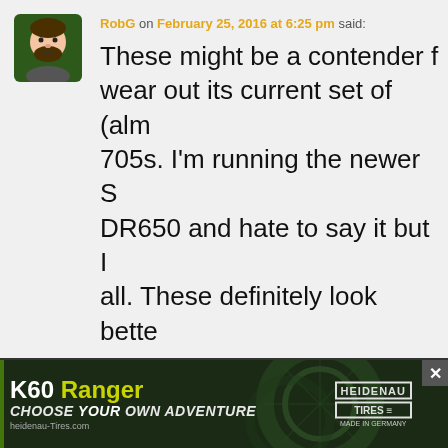[Figure (illustration): User avatar showing a cartoon/illustrated male face with beard, green background, square format]
RobG on February 25, 2016 at 6:25 pm said:
These might be a contender f... wear out its current set of (alm... 705s. I'm running the newer S... DR650 and hate to say it but I... all. These definitely look bette...
Reply
[Figure (photo): Advertisement banner for K60 Ranger tires by Heidenau. Dark green/black background with motorcycle wheel imagery. Text reads: K60 Ranger, CHOOSE YOUR OWN ADVENTURE, heidenau-Tires.com, Heidenau Tires Made in Germany logo.]